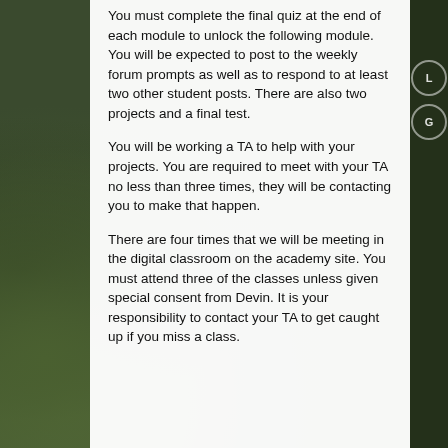You must complete the final quiz at the end of each module to unlock the following module. You will be expected to post to the weekly forum prompts as well as to respond to at least two other student posts. There are also two projects and a final test.
You will be working a TA to help with your projects. You are required to meet with your TA no less than three times, they will be contacting you to make that happen.
There are four times that we will be meeting in the digital classroom on the academy site. You must attend three of the classes unless given special consent from Devin. It is your responsibility to contact your TA to get caught up if you miss a class.